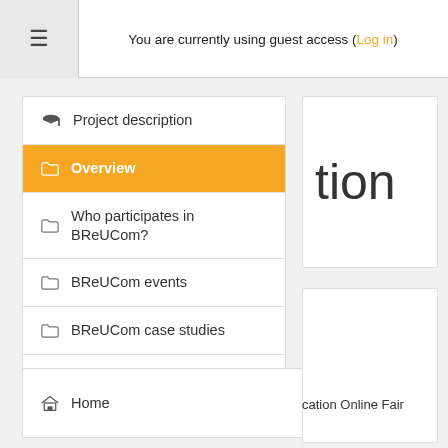You are currently using guest access (Log in)
Project description
Overview
Who participates in BReUCom?
BReUCom events
BReUCom case studies
BReUCom courses & PDPs
Home
tion
cation Online Fair